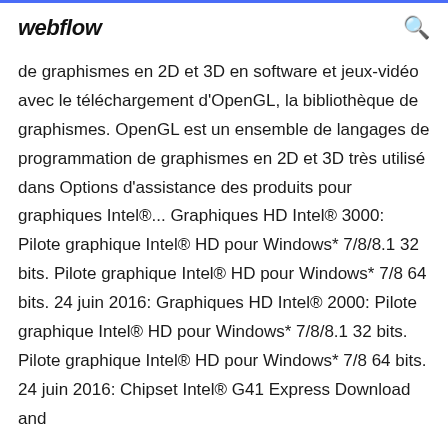webflow
de graphismes en 2D et 3D en software et jeux-vidéo avec le téléchargement d'OpenGL, la bibliothèque de graphismes. OpenGL est un ensemble de langages de programmation de graphismes en 2D et 3D très utilisé dans Options d'assistance des produits pour graphiques Intel®... Graphiques HD Intel® 3000: Pilote graphique Intel® HD pour Windows* 7/8/8.1 32 bits. Pilote graphique Intel® HD pour Windows* 7/8 64 bits. 24 juin 2016: Graphiques HD Intel® 2000: Pilote graphique Intel® HD pour Windows* 7/8/8.1 32 bits. Pilote graphique Intel® HD pour Windows* 7/8 64 bits. 24 juin 2016: Chipset Intel® G41 Express Download and